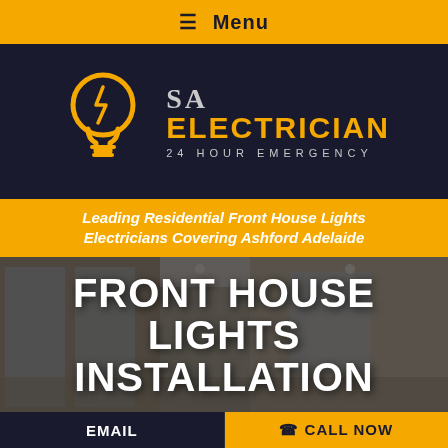≡ Menu
[Figure (logo): SA Electrician 24 Hour Emergency logo — yellow lightbulb icon on dark navy background, with 'SA' in grey serif and 'ELECTRICIAN' in gold bold uppercase, '24 HOUR EMERGENCY' in small grey spaced caps]
Leading Residential Front House Lights Electricians Covering Ashford Adelaide
[Figure (photo): Photo of a modern house exterior/interior with glass sliding doors and warm lighting, overlaid with large white bold text: FRONT HOUSE LIGHTS INSTALLATION]
EMAIL | ☎ CALL NOW